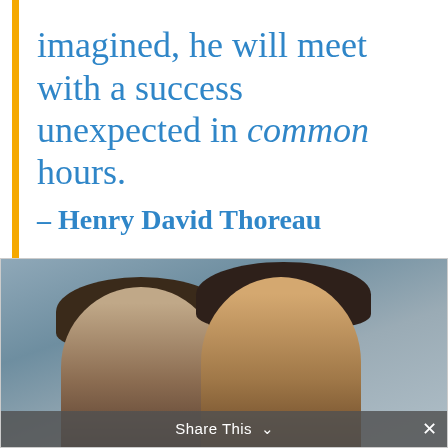imagined, he will meet with a success unexpected in common hours. – Henry David Thoreau
[Figure (photo): A smiling couple, a woman on the left and a man on the right, photographed closely together. Background is blurred.]
Share This ∨  ×